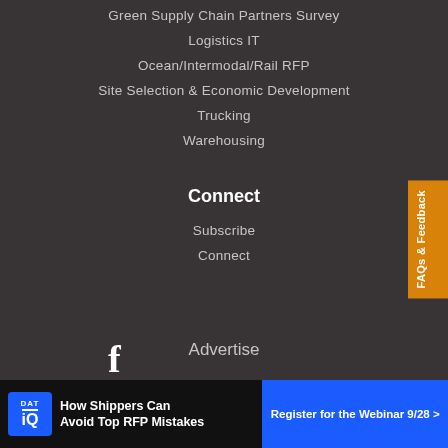Green Supply Chain Partners Survey
Logistics IT
Ocean/Intermodal/Rail RFP
Site Selection & Economic Development
Trucking
Warehousing
Connect
Subscribe
Connect
[Figure (logo): Facebook icon in white on dark background]
[Figure (infographic): FAQs & Feedback vertical tab in orange on right edge]
Advertise
[Figure (infographic): DAT IQ advertisement banner: How Shippers Can Avoid Top RFP Mistakes — Register for the Webinar 9/28]